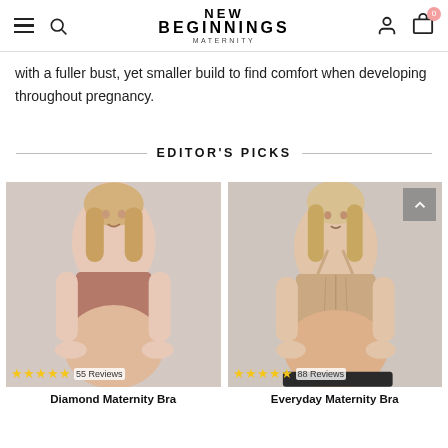NEW BEGINNINGS MATERNITY — navigation bar with hamburger, search, account, cart (0)
with a fuller bust, yet smaller build to find comfort when developing throughout pregnancy.
EDITOR'S PICKS
[Figure (photo): Pregnant woman wearing a mauve/rose-coloured Diamond Maternity Bra. 4.5 stars, 55 Reviews.]
[Figure (photo): Pregnant woman wearing a nude/beige Everyday Maternity Bra. 4.5 stars, 88 Reviews.]
Diamond Maternity Bra
Everyday Maternity Bra